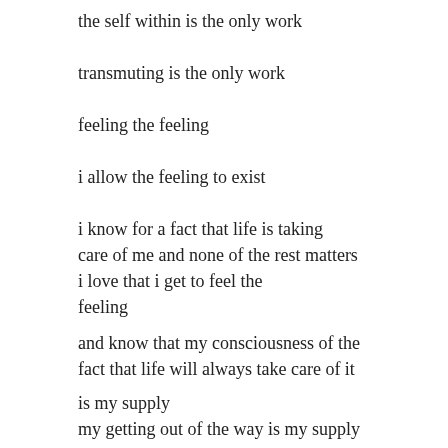the self within is the only work
transmuting is the only work
feeling the feeling
i allow the feeling to exist
i know for a fact that life is taking
care of me and none of the rest matters
i love that i get to feel the
feeling
and know that my consciousness of the
fact that life will always take care of it
is my supply
my getting out of the way is my supply
i loveletting